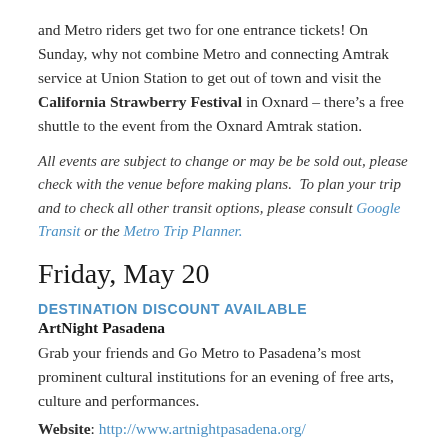and Metro riders get two for one entrance tickets! On Sunday, why not combine Metro and connecting Amtrak service at Union Station to get out of town and visit the California Strawberry Festival in Oxnard – there's a free shuttle to the event from the Oxnard Amtrak station.
All events are subject to change or may be be sold out, please check with the venue before making plans.  To plan your trip and to check all other transit options, please consult Google Transit or the Metro Trip Planner.
Friday, May 20
DESTINATION DISCOUNT AVAILABLE
ArtNight Pasadena
Grab your friends and Go Metro to Pasadena's most prominent cultural institutions for an evening of free arts, culture and performances.
Website: http://www.artnightpasadena.org/
When: 6-10pm
Price: FREE